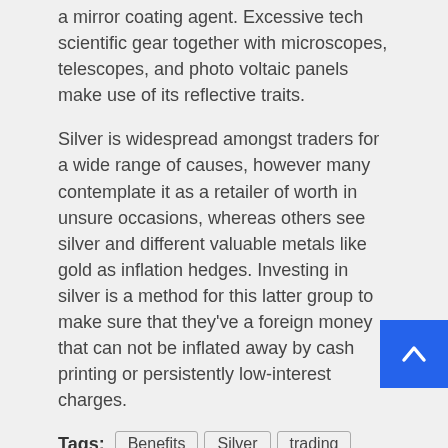a mirror coating agent. Excessive tech scientific gear together with microscopes, telescopes, and photo voltaic panels make use of its reflective traits.
Silver is widespread amongst traders for a wide range of causes, however many contemplate it as a retailer of worth in unsure occasions, whereas others see silver and different valuable metals like gold as inflation hedges. Investing in silver is a method for this latter group to make sure that they've a foreign money that can not be inflated away by cash printing or persistently low-interest charges.
Tags: Benefits | Silver | trading | Worth
Previous:
7 Suggestions for Constructing Shoe Collection
Next:
Know all about The Kratom Colours Earlier than